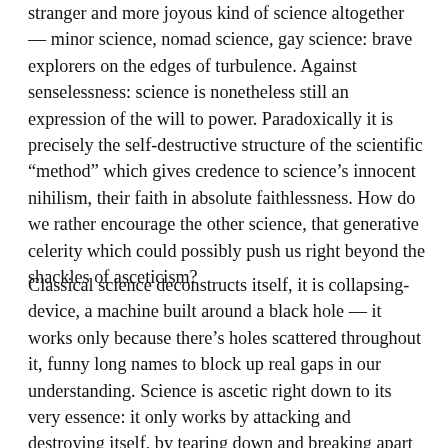stranger and more joyous kind of science altogether — minor science, nomad science, gay science: brave explorers on the edges of turbulence. Against senselessness: science is nonetheless still an expression of the will to power. Paradoxically it is precisely the self-destructive structure of the scientific “method” which gives credence to science’s innocent nihilism, their faith in absolute faithlessness. How do we rather encourage the other science, that generative celerity which could possibly push us right beyond the shackles of asceticism?
Classical science deconstructs itself, it is collapsing-device, a machine built around a black hole — it works only because there’s holes scattered throughout it, funny long names to block up real gaps in our understanding. Science is ascetic right down to its very essence: it only works by attacking and destroying itself, by tearing down and breaking apart its